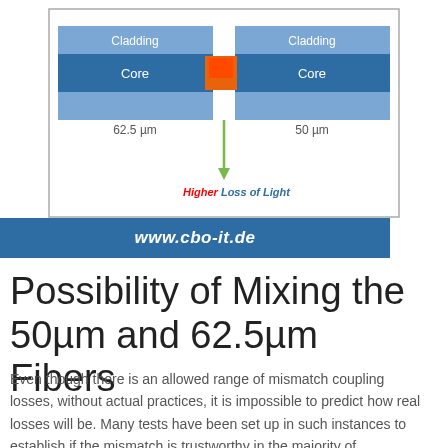[Figure (schematic): Diagram showing two optical fibers side by side. Left fiber labeled 62.5 µm with Cladding (light blue) and Core (dark blue). Right fiber labeled 50 µm with Cladding (light blue) and Core (dark blue). A red/orange square at the junction indicates light coupling mismatch. A green arrow points downward with text 'Higher Loss of Light' in red/blue.]
www.cbo-it.de
Possibility of Mixing the 50µm and 62.5µm Fibers
Even though there is an allowed range of mismatch coupling losses, without actual practices, it is impossible to predict how real losses will be. Many tests have been set up in such instances to establish if the mismatch is trustworthy in the majority of occurrences.